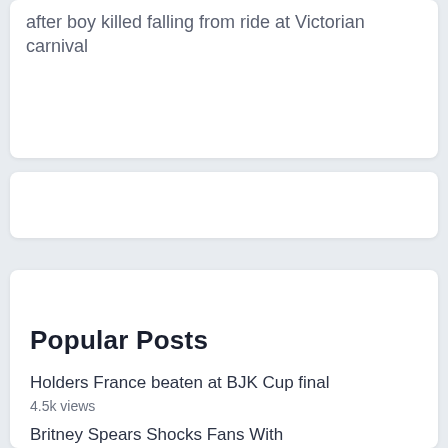after boy killed falling from ride at Victorian carnival
Popular Posts
Holders France beaten at BJK Cup final
4.5k views
Britney Spears Shocks Fans With